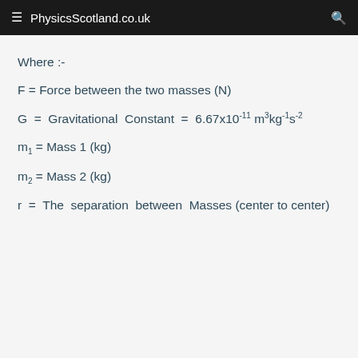PhysicsScotland.co.uk
Where :-
F = Force between the two masses (N)
G = Gravitational Constant = 6.67x10⁻¹¹ m³kg⁻¹s⁻²
m₁ = Mass 1 (kg)
m₂ = Mass 2 (kg)
r = The separation between Masses (center to center)